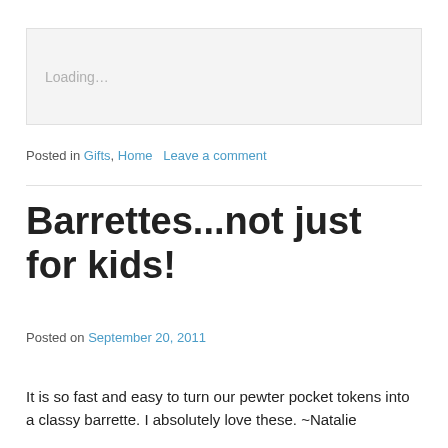[Figure (screenshot): Loading placeholder box with light gray background and 'Loading...' text in light gray]
Posted in Gifts, Home   Leave a comment
Barrettes...not just for kids!
Posted on September 20, 2011
It is so fast and easy to turn our pewter pocket tokens into a classy barrette. I absolutely love these. ~Natalie